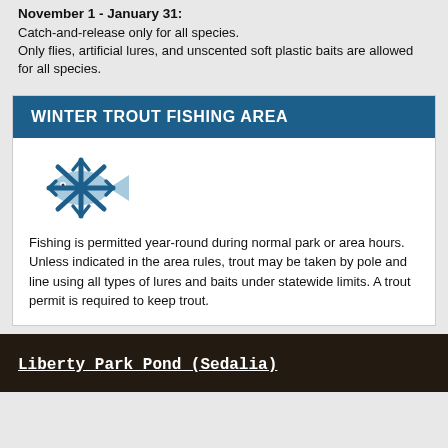November 1 - January 31:
Catch-and-release only for all species.
Only flies, artificial lures, and unscented soft plastic baits are allowed for all species.
WINTER TROUT FISHING AREA
[Figure (illustration): Blue snowflake icon overlapping a light blue fish icon]
Fishing is permitted year-round during normal park or area hours. Unless indicated in the area rules, trout may be taken by pole and line using all types of lures and baits under statewide limits. A trout permit is required to keep trout.
Liberty Park Pond (Sedalia)